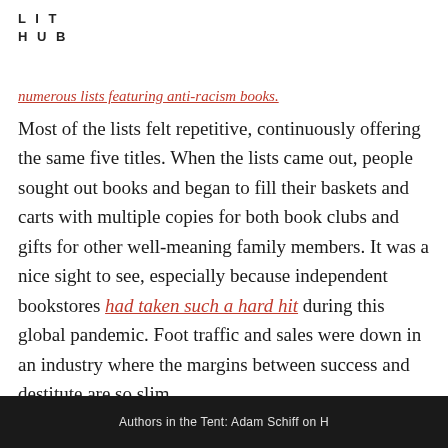LIT
HUB
numerous lists featuring anti-racism books.
Most of the lists felt repetitive, continuously offering the same five titles. When the lists came out, people sought out books and began to fill their baskets and carts with multiple copies for both book clubs and gifts for other well-meaning family members. It was a nice sight to see, especially because independent bookstores had taken such a hard hit during this global pandemic. Foot traffic and sales were down in an industry where the margins between success and destitute are so slim.
[Figure (photo): Dark background image strip at bottom with caption text: Authors in the Tent: Adam Schiff on H]